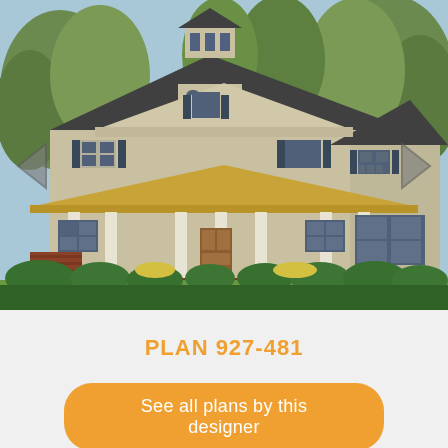[Figure (illustration): Architectural illustration of a large two-story colonial/traditional style house with columned porch, cupola on roof, shuttered windows, golden/tan siding, brick accents, surrounded by trees and landscaping. Navigation arrows (left and right chevrons) overlaid on the sides of the image.]
PLAN 927-481
See all plans by this designer